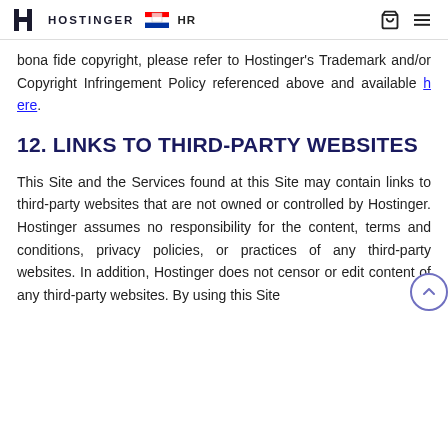HOSTINGER HR
bona fide copyright, please refer to Hostinger's Trademark and/or Copyright Infringement Policy referenced above and available here.
12. LINKS TO THIRD-PARTY WEBSITES
This Site and the Services found at this Site may contain links to third-party websites that are not owned or controlled by Hostinger. Hostinger assumes no responsibility for the content, terms and conditions, privacy policies, or practices of any third-party websites. In addition, Hostinger does not censor or edit content of any third-party websites. By using this Site